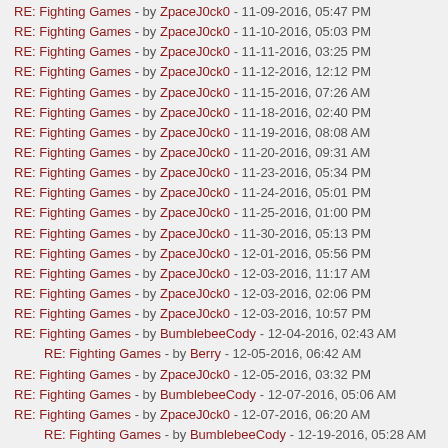RE: Fighting Games - by ZpaceJ0ck0 - 11-09-2016, 05:47 PM
RE: Fighting Games - by ZpaceJ0ck0 - 11-10-2016, 05:03 PM
RE: Fighting Games - by ZpaceJ0ck0 - 11-11-2016, 03:25 PM
RE: Fighting Games - by ZpaceJ0ck0 - 11-12-2016, 12:12 PM
RE: Fighting Games - by ZpaceJ0ck0 - 11-15-2016, 07:26 AM
RE: Fighting Games - by ZpaceJ0ck0 - 11-18-2016, 02:40 PM
RE: Fighting Games - by ZpaceJ0ck0 - 11-19-2016, 08:08 AM
RE: Fighting Games - by ZpaceJ0ck0 - 11-20-2016, 09:31 AM
RE: Fighting Games - by ZpaceJ0ck0 - 11-23-2016, 05:34 PM
RE: Fighting Games - by ZpaceJ0ck0 - 11-24-2016, 05:01 PM
RE: Fighting Games - by ZpaceJ0ck0 - 11-25-2016, 01:00 PM
RE: Fighting Games - by ZpaceJ0ck0 - 11-30-2016, 05:13 PM
RE: Fighting Games - by ZpaceJ0ck0 - 12-01-2016, 05:56 PM
RE: Fighting Games - by ZpaceJ0ck0 - 12-03-2016, 11:17 AM
RE: Fighting Games - by ZpaceJ0ck0 - 12-03-2016, 02:06 PM
RE: Fighting Games - by ZpaceJ0ck0 - 12-03-2016, 10:57 PM
RE: Fighting Games - by BumblebeeCody - 12-04-2016, 02:43 AM
RE: Fighting Games - by Berry - 12-05-2016, 06:42 AM
RE: Fighting Games - by ZpaceJ0ck0 - 12-05-2016, 03:32 PM
RE: Fighting Games - by BumblebeeCody - 12-07-2016, 05:06 AM
RE: Fighting Games - by ZpaceJ0ck0 - 12-07-2016, 06:20 AM
RE: Fighting Games - by BumblebeeCody - 12-19-2016, 05:28 AM
RE: Fighting Games - by ZpaceJ0ck0 - 12-07-2016, 04:59 PM
RE: Fighting Games - by Psychospacecow - 12-07-2016, 05:07 PM
RE: Fighting Games - by ZpaceJ0ck0 - 12-07-2016, 05:11 PM